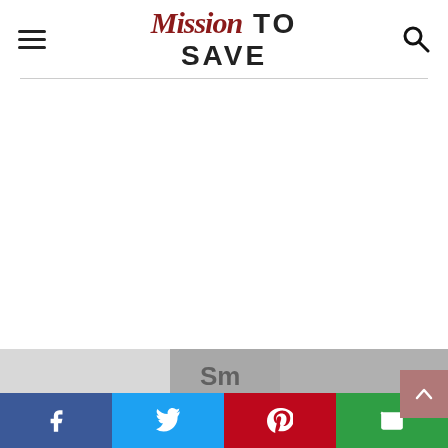Mission To Save — website header with hamburger menu and search icon
[Figure (screenshot): Partial image at bottom of page showing a newspaper or coupon close-up in black and white]
[Figure (infographic): Social share bar with Facebook (blue), Twitter (light blue), Pinterest (red), and Email (green) buttons, plus a scroll-to-top button (mauve/pink)]